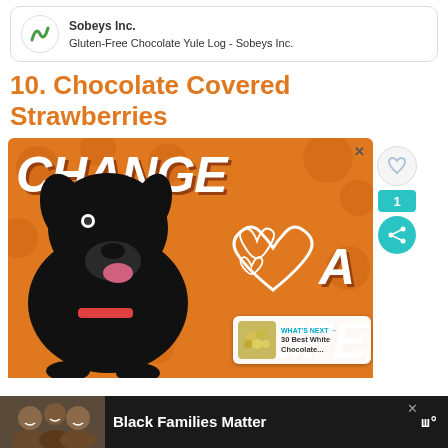[Figure (other): Product card with Sobeys Inc. logo and text: Sobeys Inc. / Gluten-Free Chocolate Yule Log - Sobeys Inc.]
10. Chocolate Covered Strawberries
[Figure (advertisement): Orange advertisement banner with a black Labrador dog, text reading CHANGE A LIFE in large white italic letters, and three white heart outlines. A small WHAT'S NEXT panel shows '30 Best White Chocolate...' with thumbnail. Side panel shows heart icon, count '1', and share button.]
[Figure (advertisement): Dark bottom banner advertisement: photo of smiling family on left, text 'Black Families Matter' in white bold on dark background, with X close button and logo icon.]